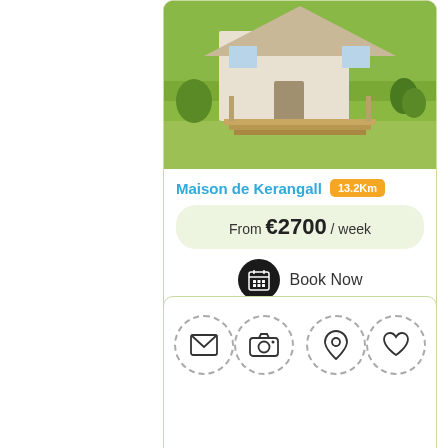[Figure (photo): Exterior photo of Maison de Kerangall, a house with a wooden deck/stairs, green grassy lawn, rural setting]
Maison de Kerangall 13.2Km
From €2700 / week
Book Now
[Figure (other): Action icons row: envelope/email icon, camera/photo icon (left side), location pin icon, heart/favorite icon (right side) — each in dashed circular borders]